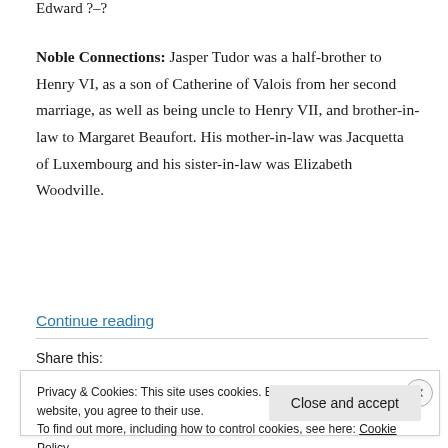Edward ?–?
Noble Connections: Jasper Tudor was a half-brother to Henry VI, as a son of Catherine of Valois from her second marriage, as well as being uncle to Henry VII, and brother-in-law to Margaret Beaufort. His mother-in-law was Jacquetta of Luxembourg and his sister-in-law was Elizabeth Woodville.
Continue reading
Share this:
Privacy & Cookies: This site uses cookies. By continuing to use this website, you agree to their use.
To find out more, including how to control cookies, see here: Cookie Policy
Close and accept